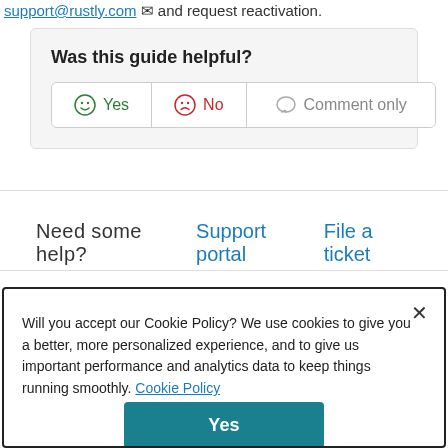support@rustly.com and request reactivation.
Was this guide helpful?
Yes | No | Comment only
Need some help?  Support portal   File a ticket
Will you accept our Cookie Policy? We use cookies to give you a better, more personalized experience, and to give us important performance and analytics data to keep things running smoothly. Cookie Policy
Yes